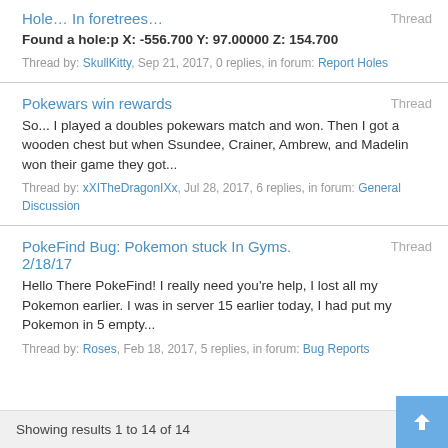Hole… In foretrees… Thread
Found a hole:p X: -556.700 Y: 97.00000 Z: 154.700
Thread by: SkullKitty, Sep 21, 2017, 0 replies, in forum: Report Holes
Pokewars win rewards Thread
So... I played a doubles pokewars match and won. Then I got a wooden chest but when Ssundee, Crainer, Ambrew, and Madelin won their game they got...
Thread by: xXITheDragonIXx, Jul 28, 2017, 6 replies, in forum: General Discussion
PokeFind Bug: Pokemon stuck In Gyms. 2/18/17 Thread
Hello There PokeFind! I really need you're help, I lost all my Pokemon earlier. I was in server 15 earlier today, I had put my Pokemon in 5 empty...
Thread by: Roses, Feb 18, 2017, 5 replies, in forum: Bug Reports
Showing results 1 to 14 of 14